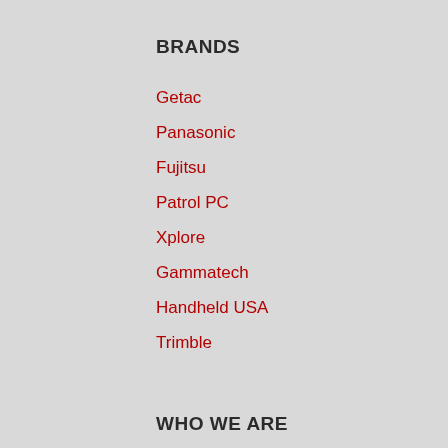BRANDS
Getac
Panasonic
Fujitsu
Patrol PC
Xplore
Gammatech
Handheld USA
Trimble
WHO WE ARE